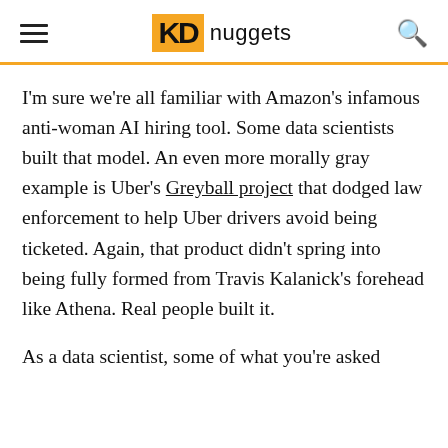KD nuggets
I'm sure we're all familiar with Amazon's infamous anti-woman AI hiring tool. Some data scientists built that model. An even more morally gray example is Uber's Greyball project that dodged law enforcement to help Uber drivers avoid being ticketed. Again, that product didn't spring into being fully formed from Travis Kalanick's forehead like Athena. Real people built it.
As a data scientist, some of what you're asked